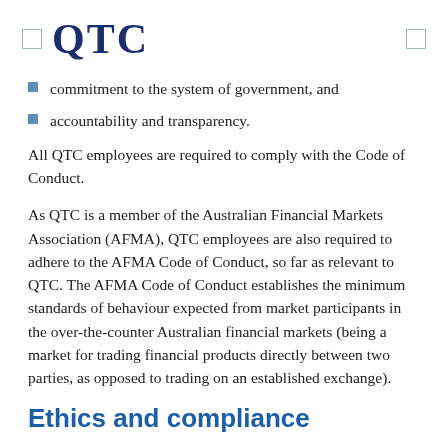QTC
commitment to the system of government, and
accountability and transparency.
All QTC employees are required to comply with the Code of Conduct.
As QTC is a member of the Australian Financial Markets Association (AFMA), QTC employees are also required to adhere to the AFMA Code of Conduct, so far as relevant to QTC. The AFMA Code of Conduct establishes the minimum standards of behaviour expected from market participants in the over-the-counter Australian financial markets (being a market for trading financial products directly between two parties, as opposed to trading on an established exchange).
Ethics and compliance